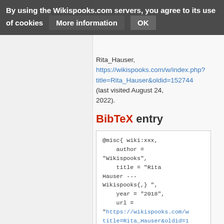By using the Wikispooks.com servers, you agree to its use of cookies  More information  OK
Rita_Hauser, https://wikispooks.com/w/index.php?title=Rita_Hauser&oldid=152744 (last visited August 24, 2022).
BibTeX entry
@misc{ wiki:xxx,
    author = "Wikispooks",
    title = "Rita Hauser --- Wikispooks{,} ",
    year = "2018",
    url = "https://wikispooks.com/w/...title=Rita_Hauser&oldid=1...",
    note = "[Online; ..."